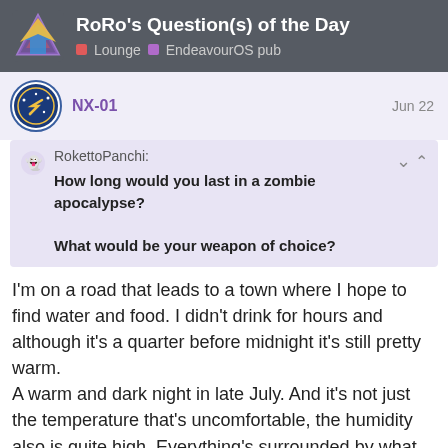RoRo's Question(s) of the Day — Lounge · EndeavourOS pub
NX-01   Jun 22
RokettoPanchi:
How long would you last in a zombie apocalypse?
What would be your weapon of choice?
I'm on a road that leads to a town where I hope to find water and food. I didn't drink for hours and although it's a quarter before midnight it's still pretty warm.
A warm and dark night in late July. And it's not just the temperature that's uncomfortable, the humidity also is quite high. Everything's surrounded by what looks like fog, although I'm not sure if it's technically fog. Anyway, whatever it is, it makes it impossible to see beyond 20 meters or so.
The night is dark and quiet. I can hear the can see it. The noise of bloody, skinless fe
181 / 780